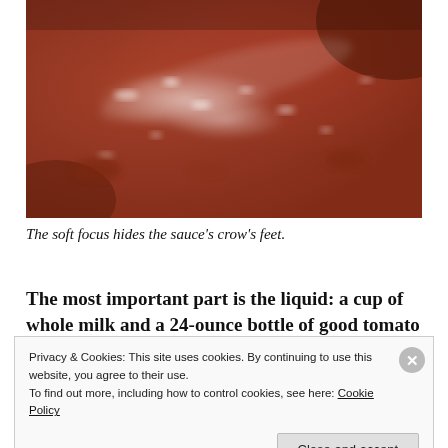[Figure (photo): Close-up photo of tomato sauce with a reddish-brown color, soft focus, showing texture and sheen with highlights.]
The soft focus hides the sauce's crow's feet.
The most important part is the liquid: a cup of whole milk and a 24-ounce bottle of good tomato puree. Not